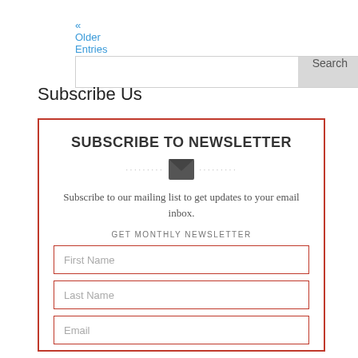« Older Entries
[Figure (other): Search bar with text input and Search button]
Subscribe Us
[Figure (other): Newsletter subscription box with envelope icon, description text, GET MONTHLY NEWSLETTER label, and form fields for First Name, Last Name, and Email]
SUBSCRIBE TO NEWSLETTER
Subscribe to our mailing list to get updates to your email inbox.
GET MONTHLY NEWSLETTER
First Name
Last Name
Email